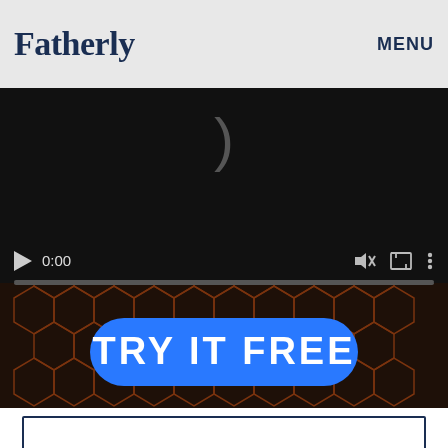Fatherly  MENU
[Figure (screenshot): Video player embedded in a dark hexagonal-patterned hero background. The video player shows a black screen with a parenthesis symbol, play button, 0:00 time display, mute icon, fullscreen icon, and more options icon. Below the player is a large bright blue rounded button reading TRY IT FREE in bold white uppercase letters.]